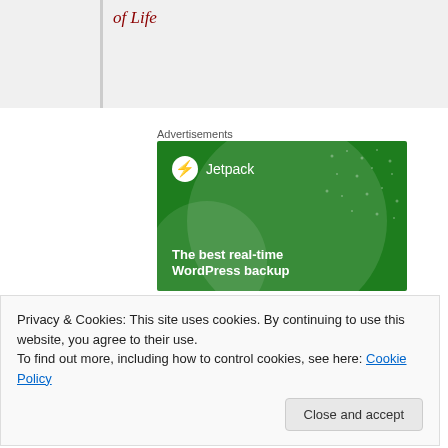of Life
Advertisements
[Figure (illustration): Jetpack WordPress plugin advertisement with green background, circular decorative elements, Jetpack logo with lightning bolt icon, and text reading 'The best real-time WordPress backup']
Privacy & Cookies: This site uses cookies. By continuing to use this website, you agree to their use.
To find out more, including how to control cookies, see here: Cookie Policy
Close and accept